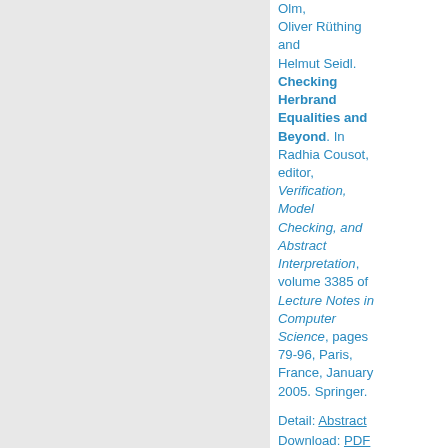Olm, Oliver Rüthing and Helmut Seidl. Checking Herbrand Equalities and Beyond. In Radhia Cousot, editor, Verification, Model Checking, and Abstract Interpretation, volume 3385 of Lecture Notes in Computer Science, pages 79-96, Paris, France, January 2005. Springer.
Detail: Abstract Download: PDF